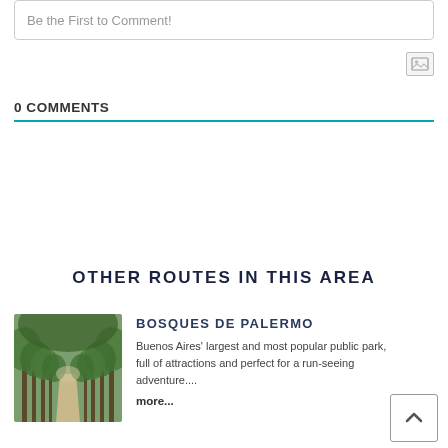Be the First to Comment!
[Figure (other): Image upload icon button]
0 COMMENTS
OTHER ROUTES IN THIS AREA
[Figure (photo): Tree-lined path in Bosques de Palermo park, Buenos Aires]
BOSQUES DE PALERMO
Buenos Aires' largest and most popular public park, full of attractions and perfect for a run-seeing adventure....
more...